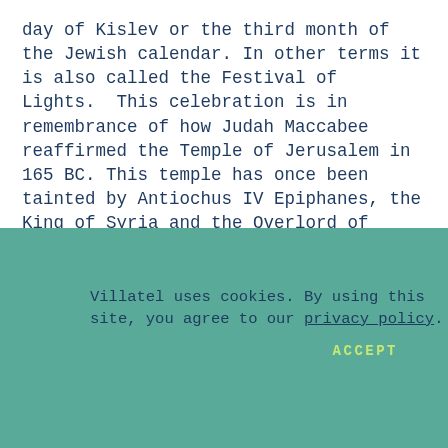day of Kislev or the third month of the Jewish calendar. In other terms it is also called the Festival of Lights.  This celebration is in remembrance of how Judah Maccabee reaffirmed the Temple of Jerusalem in 165 BC. This temple has once been tainted by Antiochus IV Epiphanes, the King of Syria and the Overlord of Palestine.
After Jerusalem and the Temple were recovered...
Villatel uses cookies. By using this site, you agree to our privacy policy.
ACCEPT